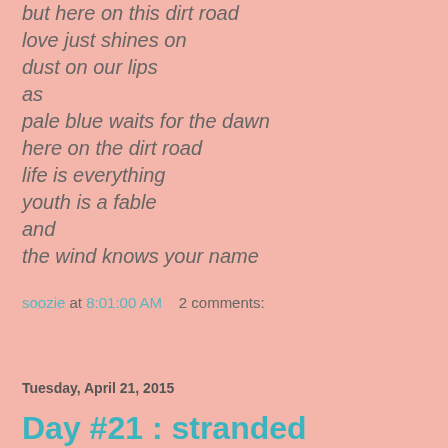but here on this dirt road
love just shines on
dust on our lips
as
pale blue waits for the dawn
here on the dirt road
life is everything
youth is a fable
and
the wind knows your name
soozie at 8:01:00 AM    2 comments:
Share
Tuesday, April 21, 2015
Day #21 : stranded